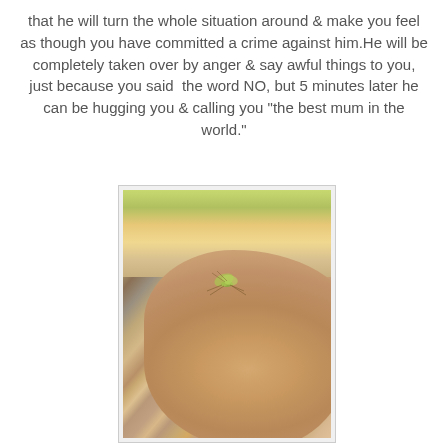that he will turn the whole situation around & make you feel as though you have committed a crime against him.He will be completely taken over by anger & say awful things to you, just because you said the word NO, but 5 minutes later he can be hugging you & calling you "the best mum in the world."
[Figure (photo): A young child's head viewed from the side/above, with a praying mantis or similar insect sitting on top of the child's head. The background shows an outdoor environment with gravel and greenery.]